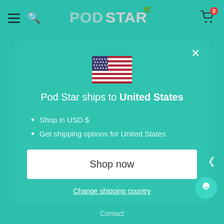Pod Star
[Figure (screenshot): US flag emoji / icon centered in modal]
Pod Star ships to United States
Shop in USD $
Get shipping options for United States
Shop now
Change shipping country
Contact